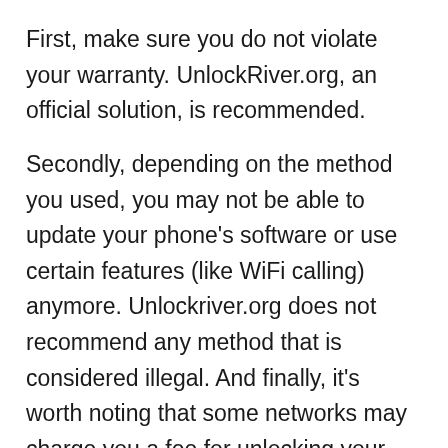First, make sure you do not violate your warranty. UnlockRiver.org, an official solution, is recommended.
Secondly, depending on the method you used, you may not be able to update your phone's software or use certain features (like WiFi calling) anymore. Unlockriver.org does not recommend any method that is considered illegal. And finally, it's worth noting that some networks may charge you a fee for unlocking your device.
Unlocking your iPhone or mobile phone can save you money if it's time to travel or change network